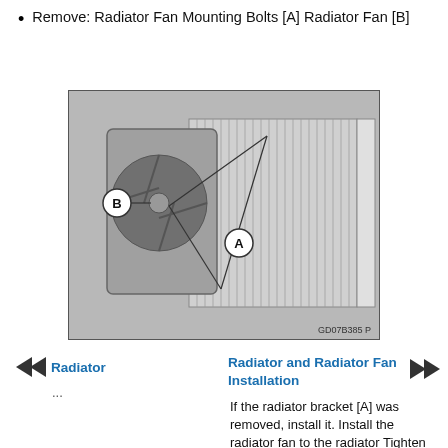Remove: Radiator Fan Mounting Bolts [A] Radiator Fan [B]
[Figure (photo): Photograph of a radiator and radiator fan assembly. Labels A (Radiator Fan Mounting Bolts) and B (Radiator Fan) are indicated with lines and circle callouts. Image code: GD07B385 P.]
Radiator
...
Radiator and Radiator Fan Installation
If the radiator bracket [A] was removed, install it. Install the radiator fan to the radiator Tighten the radiator fan mounting bolts. When